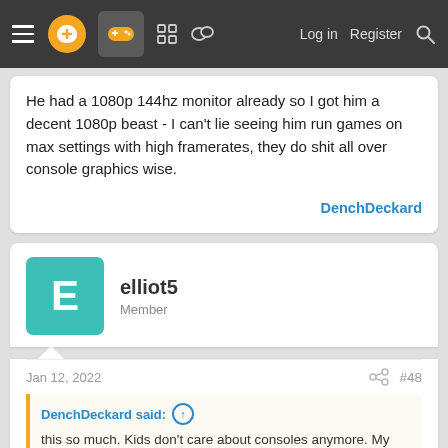Navigation bar with menu, logo, game icon, forum icons, Log in, Register, Search
He had a 1080p 144hz monitor already so I got him a decent 1080p beast - I can't lie seeing him run games on max settings with high framerates, they do shit all over console graphics wise.
DenchDeckard
elliot5
Member
Jan 12, 2022  #48
DenchDeckard said:
this so much. Kids don't care about consoles anymore. My daughter is 9 years old and I grabbed her a series S with our shared gamepass account on which she is using but she would have much preferred a pc or laptop to play games like roblox etc.